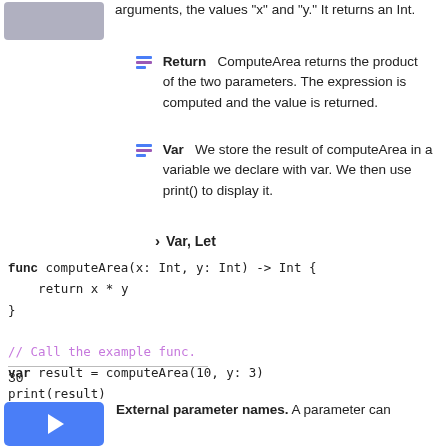arguments, the values "x" and "y." It returns an Int.
Return   ComputeArea returns the product of the two parameters. The expression is computed and the value is returned.
Var   We store the result of computeArea in a variable we declare with var. We then use print() to display it.
> Var, Let
func computeArea(x: Int, y: Int) -> Int {
    return x * y
}

// Call the example func.
var result = computeArea(10, y: 3)
print(result)
30
External parameter names. A parameter can